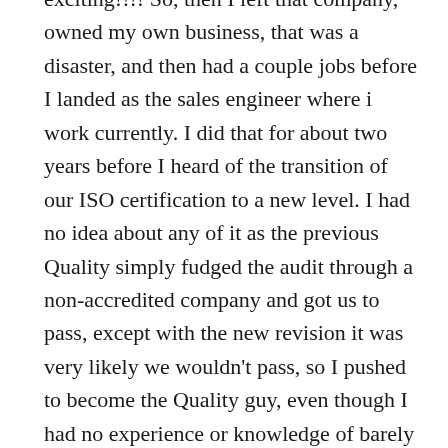exciting!!!! So, then I left that company, owned my own business, that was a disaster, and then had a couple jobs before I landed as the sales engineer where i work currently. I did that for about two years before I heard of the transition of our ISO certification to a new level. I had no idea about any of it as the previous Quality simply fudged the audit through a non-accredited company and got us to pass, except with the new revision it was very likely we wouldn't pass, so I pushed to become the Quality guy, even though I had no experience or knowledge of barely any of the processes, or procedures we had. Let me tell you what it was a windfall of information and adjustments. Deleting this useless thing, refining that process, helping our team members understand their role in the quality system, it was a lot as many of you may have experienced if you've grown a quality system from bare bones. This is the first bit of